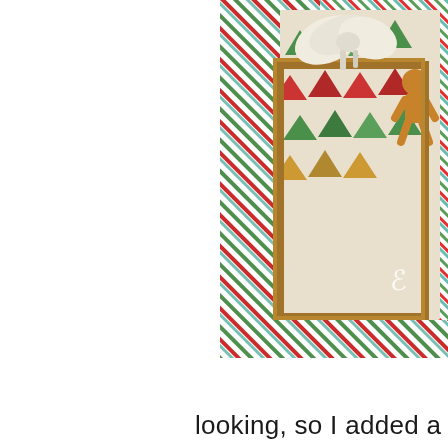[Figure (photo): Christmas craft photo showing a decorated gift or box with a burlap/cream bow on top, a Christmas tree patterned paper or fabric with green and red triangles representing trees, and colorful diagonal stripe wrapping paper in the background in red, green, teal, and white stripes. A gingerbread man figure is visible on the side.]
looking, so I added a she